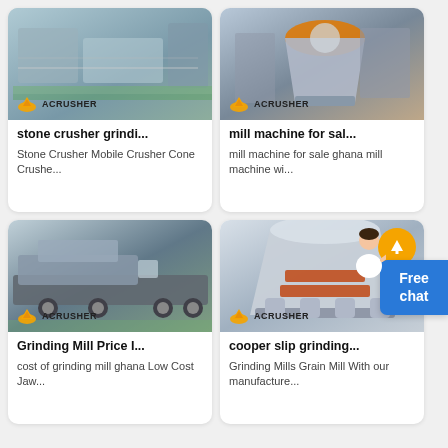[Figure (photo): Industrial stone crusher machines in a factory hall, with green floor accents, Acrusher brand logo badge at bottom left]
stone crusher grindi...
Stone Crusher Mobile Crusher Cone Crushe...
[Figure (photo): Industrial mill machine/cone crusher in a factory setting, Acrusher brand logo badge at bottom left]
mill machine for sal...
mill machine for sale ghana mill machine wi...
[Figure (photo): Mobile crusher machine loaded on a flatbed truck in a warehouse, Acrusher brand logo badge at bottom left]
Grinding Mill Price I...
cost of grinding mill ghana Low Cost Jaw...
[Figure (photo): Large cone crusher machine in grey and red colors in a factory, Acrusher brand logo badge at bottom left]
cooper slip grinding...
Grinding Mills Grain Mill With our manufacture...